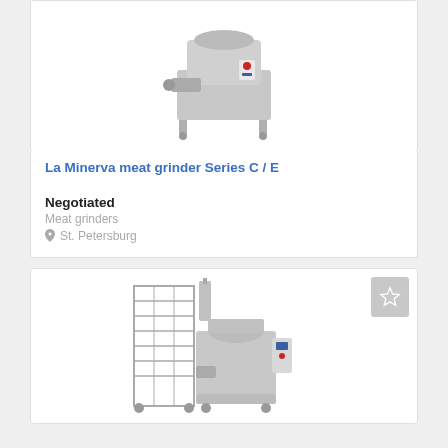[Figure (photo): La Minerva meat grinder Series C/E machine photo on white background]
La Minerva meat grinder Series C / E
Negotiated
Meat grinders
St. Petersburg
[Figure (photo): Industrial meat processing equipment with trolley/rack system, stainless steel, second product listing]